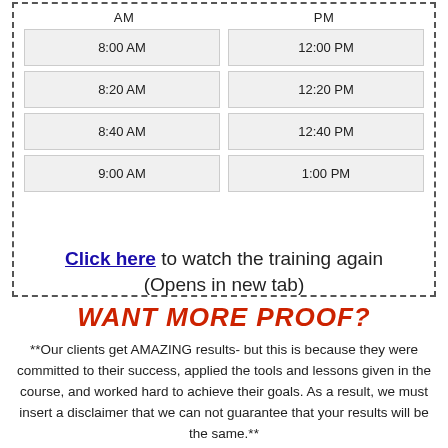| AM | PM |
| --- | --- |
| 8:00 AM | 12:00 PM |
| 8:20 AM | 12:20 PM |
| 8:40 AM | 12:40 PM |
| 9:00 AM | 1:00 PM |
Click here to watch the training again (Opens in new tab)
WANT MORE PROOF?
**Our clients get AMAZING results- but this is because they were committed to their success, applied the tools and lessons given in the course, and worked hard to achieve their goals. As a result, we must insert a disclaimer that we can not guarantee that your results will be the same.**